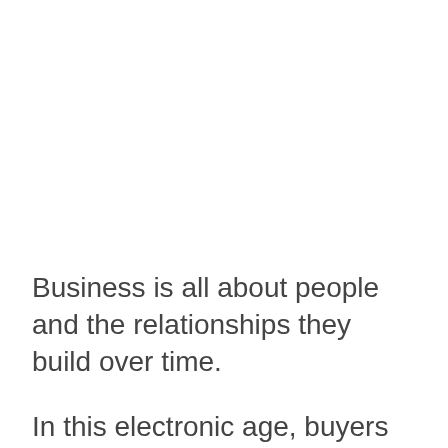Business is all about people and the relationships they build over time.
In this electronic age, buyers and sellers are no longer limited geographically as Internet businesses are transacted 24 hours a day.